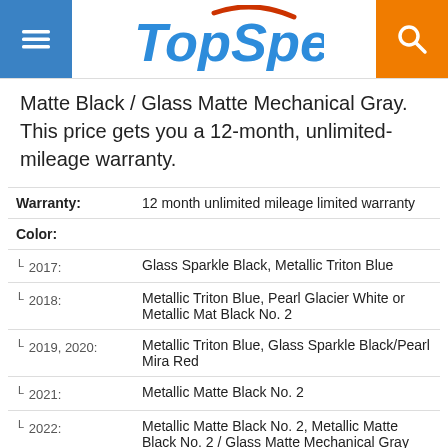TopSpeed
Matte Black / Glass Matte Mechanical Gray. This price gets you a 12-month, unlimited-mileage warranty.
| Field | Value |
| --- | --- |
| Warranty: | 12 month unlimited mileage limited warranty |
| Color: |  |
| L 2017: | Glass Sparkle Black, Metallic Triton Blue |
| L 2018: | Metallic Triton Blue, Pearl Glacier White or Metallic Mat Black No. 2 |
| L 2019, 2020: | Metallic Triton Blue, Glass Sparkle Black/Pearl Mira Red |
| L 2021: | Metallic Matte Black No. 2 |
| L 2022: | Metallic Matte Black No. 2, Metallic Matte Black No. 2 / Glass Matte Mechanical Gray |
| Price: |  |
| L 2017, 2018: | $17,199 |